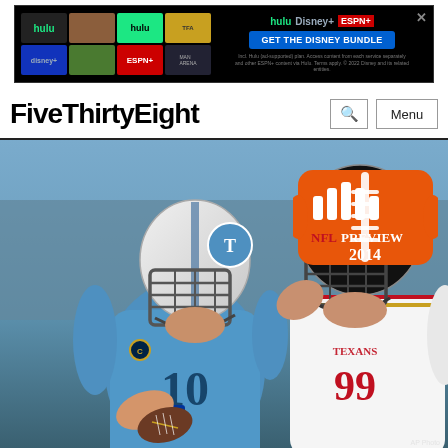[Figure (photo): Hulu Disney Bundle advertisement banner with thumbnails of streaming content]
FiveThirtyEight
[Figure (photo): NFL Preview 2014 action photo showing a Tennessee Titans quarterback in light blue jersey holding a football being rushed by a Houston Texans #99 defender in white jersey. NFL Preview 2014 badge visible in upper right with orange football and bar chart icon.]